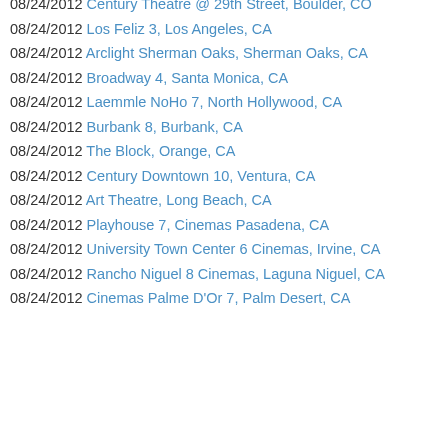08/24/2012 Century Theatre @ 29th Street, Boulder, CO
08/24/2012 Los Feliz 3, Los Angeles, CA
08/24/2012 Arclight Sherman Oaks, Sherman Oaks, CA
08/24/2012 Broadway 4, Santa Monica, CA
08/24/2012 Laemmle NoHo 7, North Hollywood, CA
08/24/2012 Burbank 8, Burbank, CA
08/24/2012 The Block, Orange, CA
08/24/2012 Century Downtown 10, Ventura, CA
08/24/2012 Art Theatre, Long Beach, CA
08/24/2012 Playhouse 7, Cinemas Pasadena, CA
08/24/2012 University Town Center 6 Cinemas, Irvine, CA
08/24/2012 Rancho Niguel 8 Cinemas, Laguna Niguel, CA
08/24/2012 Cinemas Palme D'Or 7, Palm Desert, CA